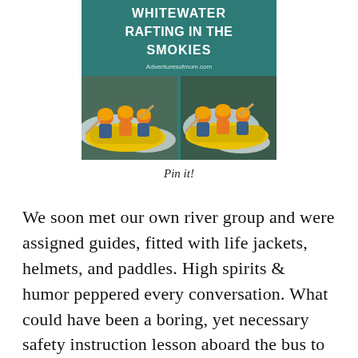[Figure (photo): Whitewater rafting promotional image showing two rafts with paddlers in yellow helmets navigating rapids, with text overlay reading 'WHITEWATER RAFTING IN THE SMOKIES' and 'Adventuresofmom.com']
Pin it!
We soon met our own river group and were assigned guides, fitted with life jackets, helmets, and paddles. High spirits & humor peppered every conversation. What could have been a boring, yet necessary safety instruction lesson aboard the bus to the launch site had everyone laughing in the end. We were cautioned about the dangers of the river, like never to try and stand